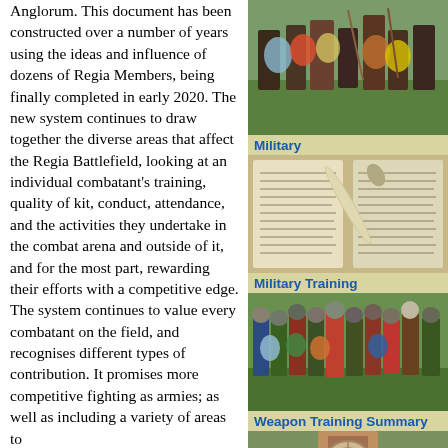Anglorum. This document has been constructed over a number of years using the ideas and influence of dozens of Regia Members, being finally completed in early 2020. The new system continues to draw together the diverse areas that affect the Regia Battlefield, looking at an individual combatant's training, quality of kit, conduct, attendance, and the activities they undertake in the combat arena and outside of it, and for the most part, rewarding their efforts with a competitive edge.
The system continues to value every combatant on the field, and recognises different types of contribution. It promises more competitive fighting as armies; as well as including a variety of areas to
[Figure (photo): Re-enactors in medieval costume fighting with shields and weapons on a grass field]
Military
[Figure (photo): A medieval manuscript document with a bone or ivory artifact placed on top]
Military Training
[Figure (photo): Group of re-enactors in medieval warrior costume standing together on grass]
Weapon Training Summary
[Figure (photo): A re-enactor in medieval costume at bottom of page, partially visible]